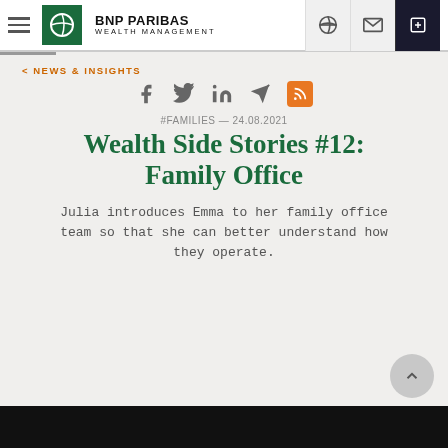BNP PARIBAS WEALTH MANAGEMENT
< NEWS & INSIGHTS
[Figure (other): Social sharing icons: Facebook, Twitter, LinkedIn, Telegram/send, RSS feed]
#FAMILIES — 24.08.2021
Wealth Side Stories #12: Family Office
Julia introduces Emma to her family office team so that she can better understand how they operate.